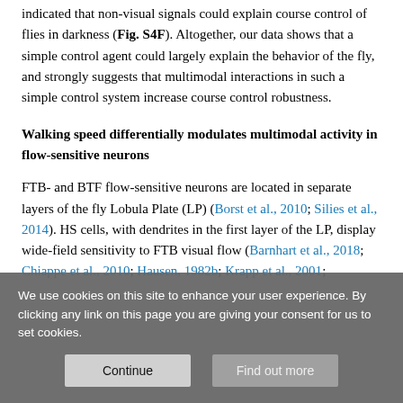indicated that non-visual signals could explain course control of flies in darkness (Fig. S4F). Altogether, our data shows that a simple control agent could largely explain the behavior of the fly, and strongly suggests that multimodal interactions in such a simple control system increase course control robustness.
Walking speed differentially modulates multimodal activity in flow-sensitive neurons
FTB- and BTF flow-sensitive neurons are located in separate layers of the fly Lobula Plate (LP) (Borst et al., 2010; Silies et al., 2014). HS cells, with dendrites in the first layer of the LP, display wide-field sensitivity to FTB visual flow (Barnhart et al., 2018; Chiappe et al., 2010; Hausen, 1982b; Krapp et al., 2001;
We use cookies on this site to enhance your user experience. By clicking any link on this page you are giving your consent for us to set cookies.